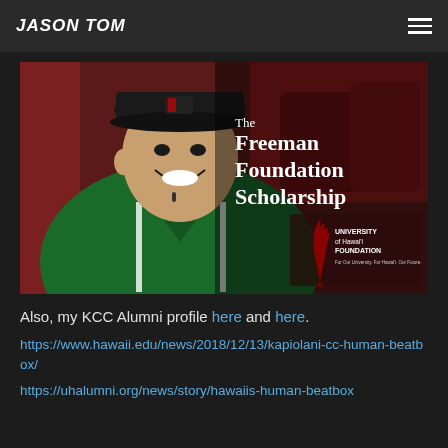JASON TOM
[Figure (photo): Jason Tom smiling in a green jacket, overlaid with text 'The Freeman Foundation Scholarship' and the University of Hawai'i Foundation logo]
Also, my KCC Alumni profile here and here.
https://www.hawaii.edu/news/2018/12/13/kapiolani-cc-human-beatbox/
https://uhalumni.org/news/story/hawaiis-human-beatbox